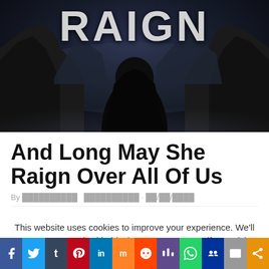[Figure (illustration): Dark fantasy hero image showing a shadowed figure from behind, surrounded by dramatic rocky formations and misty atmosphere. The word RAIGN is displayed prominently at the top in large white letters.]
And Long May She Raign Over All Of Us
This website uses cookies to improve your experience. We'll assume you're ok with this, but you can opt-out if you wish.